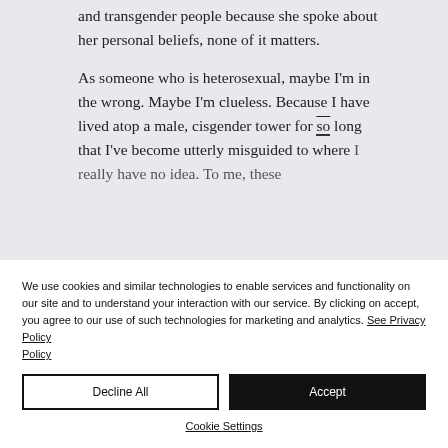and transgender people because she spoke about her personal beliefs, none of it matters.
As someone who is heterosexual, maybe I'm in the wrong. Maybe I'm clueless. Because I have lived atop a male, cisgender tower for so long that I've become utterly misguided to where
We use cookies and similar technologies to enable services and functionality on our site and to understand your interaction with our service. By clicking on accept, you agree to our use of such technologies for marketing and analytics. See Privacy Policy
Decline All
Accept
Cookie Settings